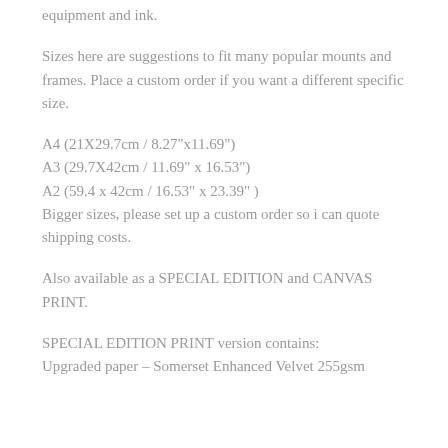equipment and ink.
Sizes here are suggestions to fit many popular mounts and frames. Place a custom order if you want a different specific size.
A4 (21X29.7cm / 8.27"x11.69")
A3 (29.7X42cm / 11.69" x 16.53")
A2 (59.4 x 42cm / 16.53" x 23.39" )
Bigger sizes, please set up a custom order so i can quote shipping costs.
Also available as a SPECIAL EDITION and CANVAS PRINT.
SPECIAL EDITION PRINT version contains:
Upgraded paper – Somerset Enhanced Velvet 255gsm